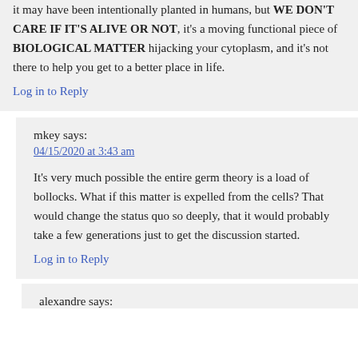it may have been intentionally planted in humans, but WE DON'T CARE IF IT'S ALIVE OR NOT, it's a moving functional piece of BIOLOGICAL MATTER hijacking your cytoplasm, and it's not there to help you get to a better place in life.
Log in to Reply
mkey says:
04/15/2020 at 3:43 am
It's very much possible the entire germ theory is a load of bollocks. What if this matter is expelled from the cells? That would change the status quo so deeply, that it would probably take a few generations just to get the discussion started.
Log in to Reply
alexandre says: